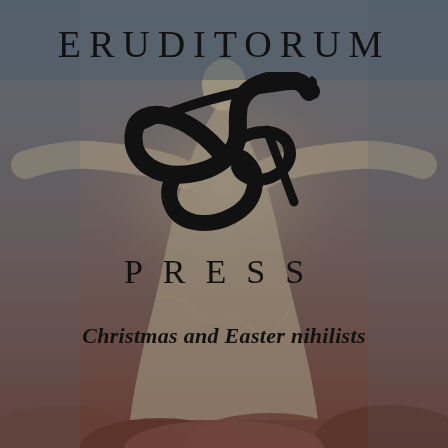[Figure (logo): Eruditorum Press logo cover page with atmospheric background showing a robed figure with arms outstretched, muted teal/gray top and warm reddish-brown lower tones. Overlaid with the Eruditorum Press logo (stylized EP monogram), publisher name, and tagline.]
ERUDITORUM
[Figure (logo): Stylized EP monogram logo in black — a sweeping calligraphic E combined with a P, with flourishes]
PRESS
Christmas and Easter nihilists